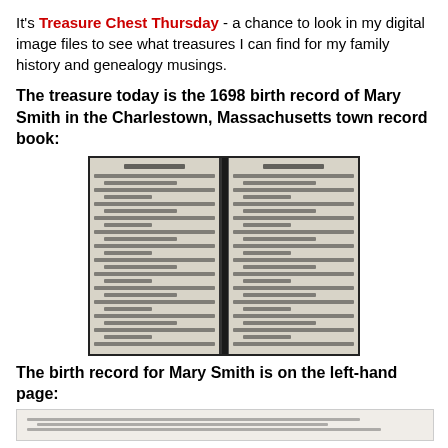It's Treasure Chest Thursday - a chance to look in my digital image files to see what treasures I can find for my family history and genealogy musings.
The treasure today is the 1698 birth record of Mary Smith in the Charlestown, Massachusetts town record book:
[Figure (photo): A scanned two-page spread of an old handwritten ledger/record book, showing columns of handwritten entries in old script. The pages are yellowed and the text is in faded ink.]
The birth record for Mary Smith is on the left-hand page:
[Figure (photo): Bottom strip of a zoomed-in view of the left-hand page of the record book, partially visible.]